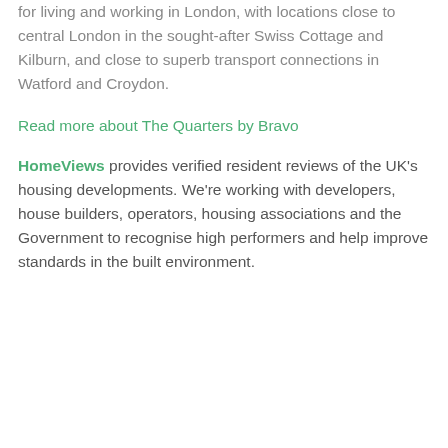for living and working in London, with locations close to central London in the sought-after Swiss Cottage and Kilburn, and close to superb transport connections in Watford and Croydon.
Read more about The Quarters by Bravo
HomeViews provides verified resident reviews of the UK's housing developments. We're working with developers, house builders, operators, housing associations and the Government to recognise high performers and help improve standards in the built environment.